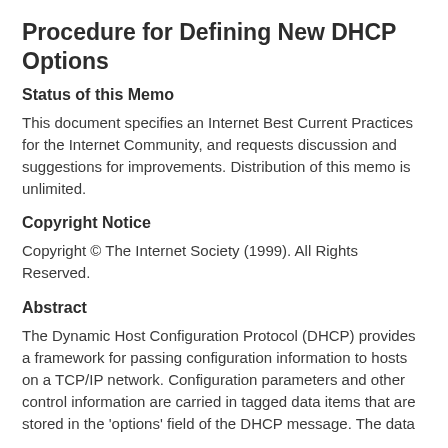Procedure for Defining New DHCP Options
Status of this Memo
This document specifies an Internet Best Current Practices for the Internet Community, and requests discussion and suggestions for improvements. Distribution of this memo is unlimited.
Copyright Notice
Copyright © The Internet Society (1999). All Rights Reserved.
Abstract
The Dynamic Host Configuration Protocol (DHCP) provides a framework for passing configuration information to hosts on a TCP/IP network. Configuration parameters and other control information are carried in tagged data items that are stored in the 'options' field of the DHCP message. The data